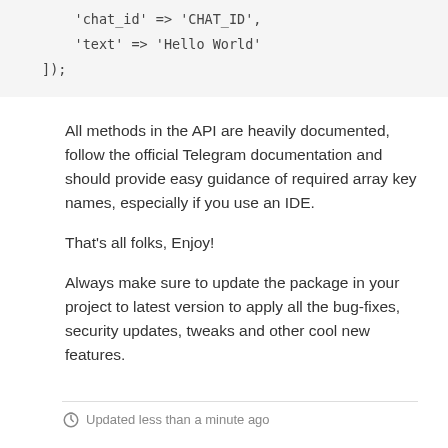[Figure (screenshot): Code block showing PHP array with 'chat_id' => 'CHAT_ID', 'text' => 'Hello World' and ]);]
All methods in the API are heavily documented, follow the official Telegram documentation and should provide easy guidance of required array key names, especially if you use an IDE.
That's all folks, Enjoy!
Always make sure to update the package in your project to latest version to apply all the bug-fixes, security updates, tweaks and other cool new features.
Updated less than a minute ago